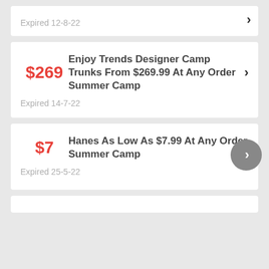Expired 12-8-22
$269
Enjoy Trends Designer Camp Trunks From $269.99 At Any Order Summer Camp
Expired 14-7-22
$7
Hanes As Low As $7.99 At Any Order Summer Camp
Expired 25-5-22